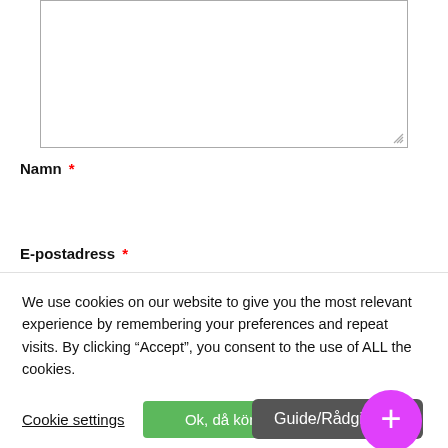[Figure (screenshot): Textarea form field (empty, resizable)]
Namn *
[Figure (screenshot): Text input field for Namn (empty)]
E-postadress *
We use cookies on our website to give you the most relevant experience by remembering your preferences and repeat visits. By clicking “Accept”, you consent to the use of ALL the cookies.
Cookie settings
Ok, då kör
Guide/Rådgivning